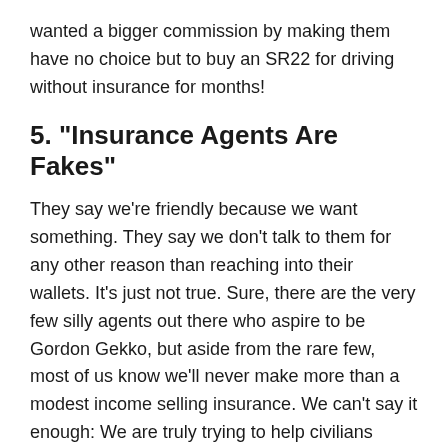wanted a bigger commission by making them have no choice but to buy an SR22 for driving without insurance for months!
5. "Insurance Agents Are Fakes"
They say we're friendly because we want something. They say we don't talk to them for any other reason than reaching into their wallets. It's just not true. Sure, there are the very few silly agents out there who aspire to be Gordon Gekko, but aside from the rare few, most of us know we'll never make more than a modest income selling insurance. We can't say it enough: We are truly trying to help civilians avoid financial ruin! Now, it's time for you to get that across to each and every one of your clients and continue building that trust.
6. "The Insurance Industry Is a Scam